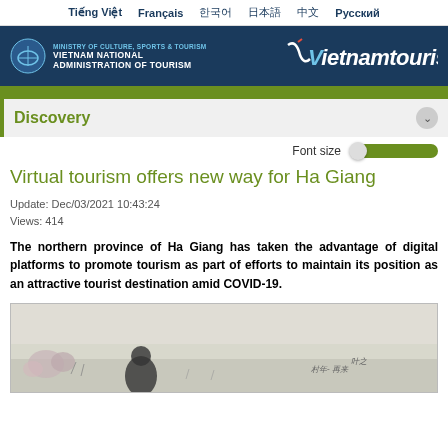Tiếng Việt  Français  한국어  日本語  中文  Русский
[Figure (logo): Vietnam National Administration of Tourism header banner with logo and vietnamtourism branding on dark blue background]
Discovery
Font size
Virtual tourism offers new way for Ha Giang
Update: Dec/03/2021 10:43:24
Views: 414
The northern province of Ha Giang has taken the advantage of digital platforms to promote tourism as part of efforts to maintain its position as an attractive tourist destination amid COVID-19.
[Figure (photo): Landscape photo showing Ha Giang scenery with flowers and a figure in a misty field]